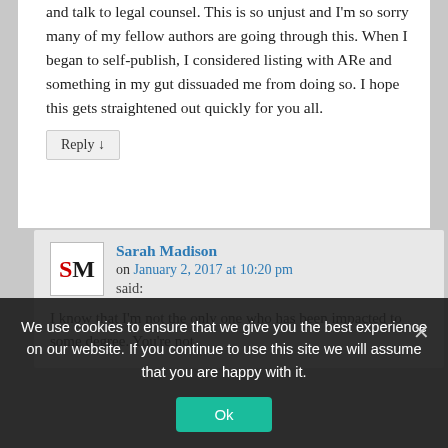and talk to legal counsel. This is so unjust and I'm so sorry many of my fellow authors are going through this. When I began to self-publish, I considered listing with ARe and something in my gut dissuaded me from doing so. I hope this gets straightened out quickly for you all.
Reply ↓
Sarah Madison on January 2, 2017 at 10:20 pm said:
I know that I'm not the only one who has been impacted to some degree. You're not
We use cookies to ensure that we give you the best experience on our website. If you continue to use this site we will assume that you are happy with it.
Ok